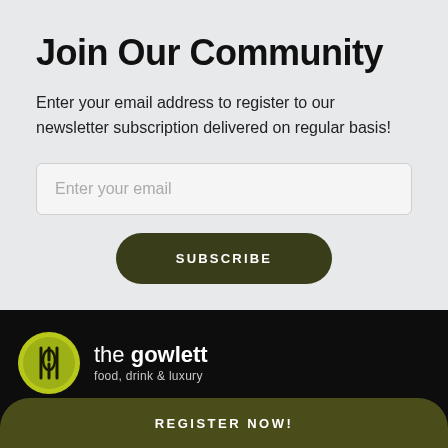Join Our Community
Enter your email address to register to our newsletter subscription delivered on regular basis!
[Figure (infographic): Email input field with placeholder text 'Enter your email' and a dark olive rounded Subscribe button below it]
[Figure (logo): The Gowlett logo: yellow-green circle with fork icon, text 'the gowlett' and tagline 'food, drink & luxury' on black background]
REGISTER NOW!